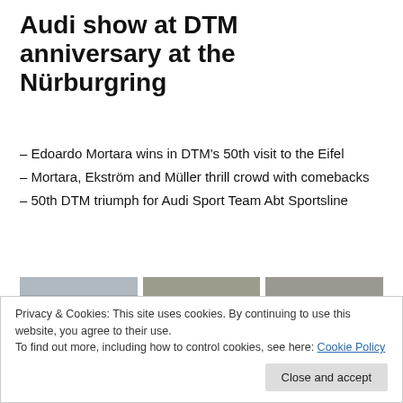Audi show at DTM anniversary at the Nürburgring
– Edoardo Mortara wins in DTM's 50th visit to the Eifel
– Mortara, Ekström and Müller thrill crowd with comebacks
– 50th DTM triumph for Audi Sport Team Abt Sportsline
[Figure (photo): Racing driver standing on top of a blue race car celebrating victory at the Nürburgring]
[Figure (photo): Two DTM race cars on track, one dark colored car in foreground]
[Figure (photo): Two DTM race cars on track with green and pink liveries]
Privacy & Cookies: This site uses cookies. By continuing to use this website, you agree to their use.
To find out more, including how to control cookies, see here: Cookie Policy
Close and accept